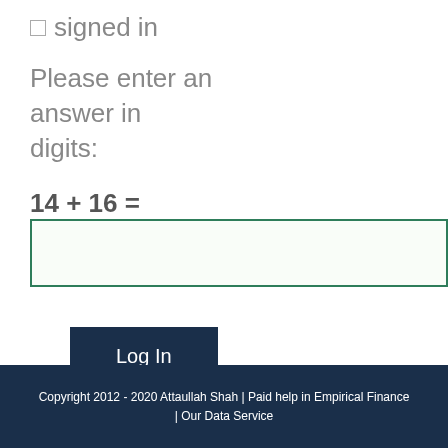signed in
Please enter an answer in digits:
Log In
Copyright 2012 - 2020 Attaullah Shah | Paid help in Empirical Finance | Our Data Service